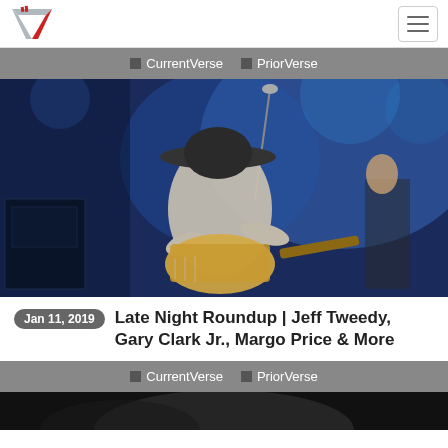Verse logo and hamburger menu
CurrentVerse  PriorVerse
[Figure (photo): Concert photo of a guitarist in a wide-brim hat playing guitar on a dimly lit blue-lit stage, with a drummer visible in the background]
Jan 11, 2019  Late Night Roundup | Jeff Tweedy, Gary Clark Jr., Margo Price & More
CurrentVerse  PriorVerse
[Figure (photo): Partial bottom photo, dark tones]